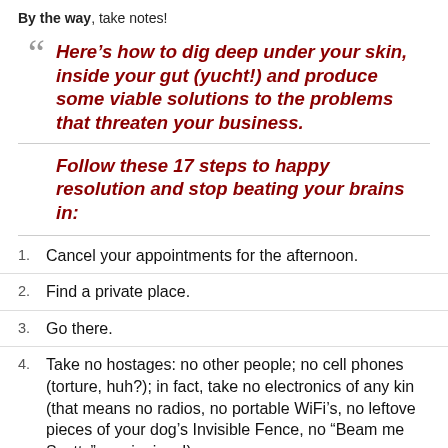By the way, take notes!
Here’s how to dig deep under your skin, inside your gut (yucht!) and produce some viable solutions to the problems that threaten your business.
Follow these 17 steps to happy resolution and stop beating your brains in:
Cancel your appointments for the afternoon.
Find a private place.
Go there.
Take no hostages: no other people; no cell phones (torture, huh?); in fact, take no electronics of any kind (that means no radios, no portable WiFi’s, no leftover pieces of your dog’s Invisible Fence, no “Beam me Scotty” magic rings!).